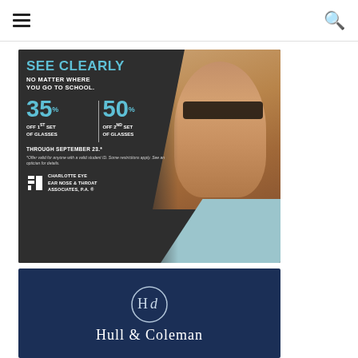Navigation header with hamburger menu and search icon
[Figure (advertisement): Charlotte Eye Ear Nose & Throat Associates advertisement. Dark background with child wearing glasses. Text: SEE CLEARLY NO MATTER WHERE YOU GO TO SCHOOL. 35% OFF 1ST SET OF GLASSES. 50% OFF 2ND SET OF GLASSES. THROUGH SEPTEMBER 23.* Offer valid for anyone with a valid student ID. Some restrictions apply. See an optician for details. Charlotte Eye Ear Nose & Throat Associates, P.A.]
[Figure (logo): Hull & Coleman logo on dark navy background with circular H&C monogram icon and text Hull & Coleman]